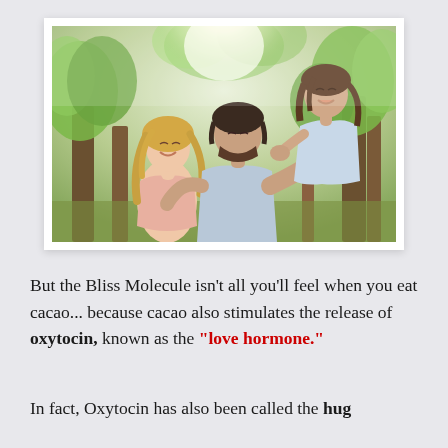[Figure (photo): A happy family of three outdoors among trees with sunlight: a smiling blonde woman, a bearded man kissing a young girl on his back, all laughing together in a bright forest setting.]
But the Bliss Molecule isn't all you'll feel when you eat cacao... because cacao also stimulates the release of oxytocin, known as the "love hormone."
In fact, Oxytocin has also been called the hug